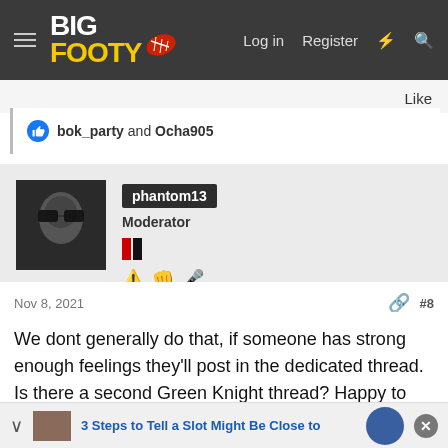BigFooty — Log in | Register
Like
bok_party and Ocha905
phantom13
Moderator
Nov 8, 2021
#8
We dont generally do that, if someone has strong enough feelings they'll post in the dedicated thread. Is there a second Green Knight thread? Happy to merge those.
3 Steps to Tell a Slot Might Be Close to